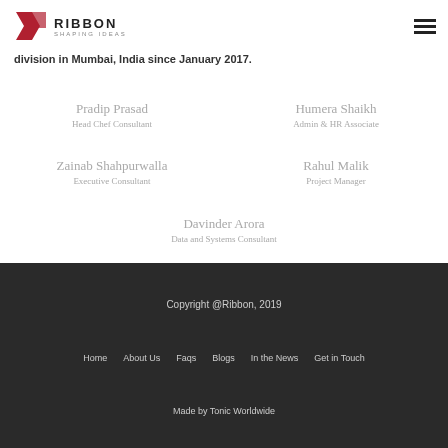RIBBON SHAPING IDEAS
division in Mumbai, India since January 2017.
Pradip Prasad
Head Chef Consultant
Humera Shaikh
Admin & HR Associate
Zainab Shahpurwalla
Executive Consultant
Rahul Malik
Project Manager
Davinder Arora
Data and Systems Consultant
Copyright @Ribbon, 2019
Home   About Us   Faqs   Blogs   In the News   Get in Touch
Made by Tonic Worldwide